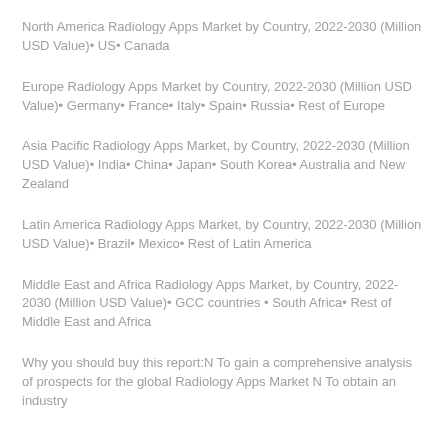North America Radiology Apps Market by Country, 2022-2030 (Million USD Value)• US• Canada
Europe Radiology Apps Market by Country, 2022-2030 (Million USD Value)• Germany• France• Italy• Spain• Russia• Rest of Europe
Asia Pacific Radiology Apps Market, by Country, 2022-2030 (Million USD Value)• India• China• Japan• South Korea• Australia and New Zealand
Latin America Radiology Apps Market, by Country, 2022-2030 (Million USD Value)• Brazil• Mexico• Rest of Latin America
Middle East and Africa Radiology Apps Market, by Country, 2022-2030 (Million USD Value)• GCC countries • South Africa• Rest of Middle East and Africa
Why you should buy this report:N To gain a comprehensive analysis of prospects for the global Radiology Apps Market N To obtain an industry